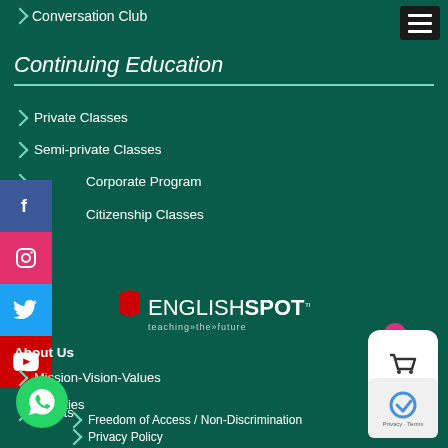Conversation Club
Continuing Education
Private Classes
Semi-private Classes
Corporate Program
Citizenship Classes
[Figure (logo): EnglishSpot TM logo with tagline 'teaching the future']
About Us
Mission-Vision-Values
Facilities
Clients
Freedom of Access / Non-Discrimination
Privacy Policy
Security Policy